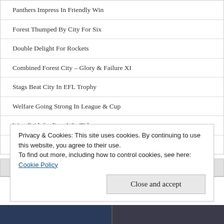Panthers Impress In Friendly Win
Forest Thumped By City For Six
Double Delight For Rockets
Combined Forest City – Glory & Failure XI
Stags Beat City In EFL Trophy
Welfare Going Strong In League & Cup
West Bridgfordians Win Title
Stabbo Hit Eight At Radcliffe – NSL Roundup
LATEST FIXTURES & RESULTS
Privacy & Cookies: This site uses cookies. By continuing to use this website, you agree to their use.
To find out more, including how to control cookies, see here:
Cookie Policy
Close and accept
[Figure (photo): Photo strip at bottom showing sports venue/stadium lights]